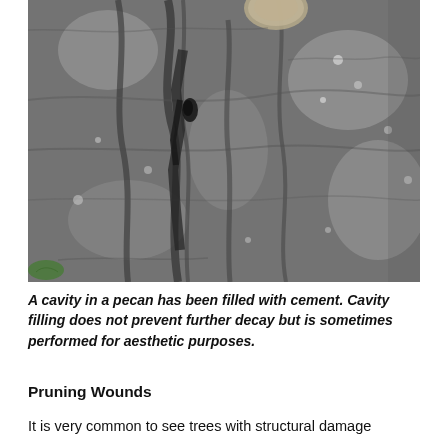[Figure (photo): Close-up photograph of tree bark showing a cavity filled with cement. The bark is rough and grey with deep crevices and textures. A small leaf is visible at the bottom left corner.]
A cavity in a pecan has been filled with cement. Cavity filling does not prevent further decay but is sometimes performed for aesthetic purposes.
Pruning Wounds
It is very common to see trees with structural damage